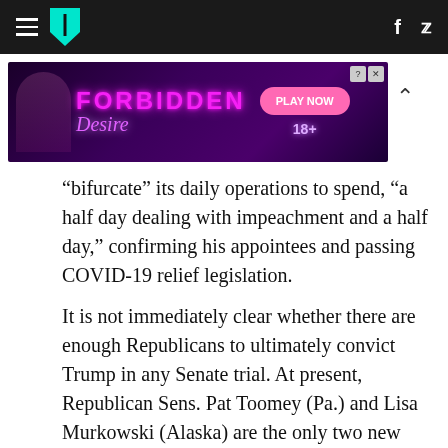HuffPost navigation bar with hamburger menu, logo, Facebook and Twitter icons
[Figure (other): Advertisement banner for 'Forbidden Desire' game with purple/neon background, PLAY NOW button, 18+ label, and close/question controls]
“bifurcate” its daily operations to spend, “a half day dealing with impeachment and a half day,” confirming his appointees and passing COVID-19 relief legislation.
It is not immediately clear whether there are enough Republicans to ultimately convict Trump in any Senate trial. At present, Republican Sens. Pat Toomey (Pa.) and Lisa Murkowski (Alaska) are the only two new Republicans who have suggested they support removing Trump from office through impeachment. Sen. Mitt Romney